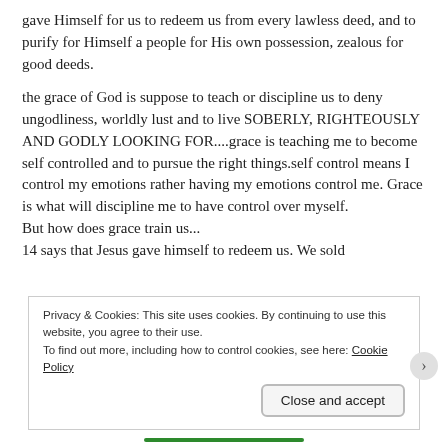gave Himself for us to redeem us from every lawless deed, and to purify for Himself a people for His own possession, zealous for good deeds.
the grace of God is suppose to teach or discipline us to deny ungodliness, worldly lust and to live SOBERLY, RIGHTEOUSLY AND GODLY LOOKING FOR....grace is teaching me to become self controlled and to pursue the right things.self control means I control my emotions rather having my emotions control me. Grace is what will discipline me to have control over myself.
But how does grace train us...
14 says that Jesus gave himself to redeem us. We sold
Privacy & Cookies: This site uses cookies. By continuing to use this website, you agree to their use.
To find out more, including how to control cookies, see here: Cookie Policy
Close and accept